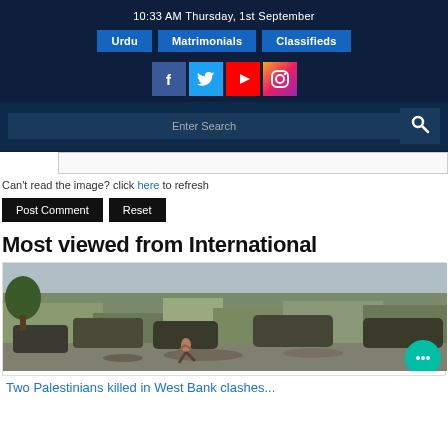10:33 AM Thursday, 1st September
Urdu | Matrimonials | Classifieds
[Figure (screenshot): Social media icons: Facebook, Twitter, YouTube, Instagram]
[Figure (screenshot): Search bar with Enter Search placeholder and search icon]
Can't read the image? click here to refresh
Post Comment  Reset
Most viewed from International
[Figure (photo): Photo of military vehicles and a person running in a conflict zone, West Bank clashes]
Two Palestinians killed in West Bank clashes...